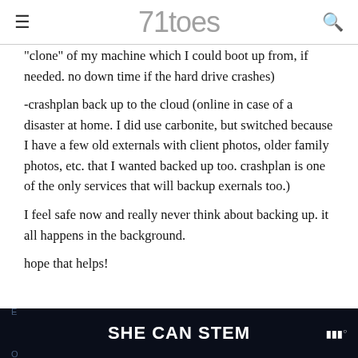71toes
"clone" of my machine which I could boot up from, if needed. no down time if the hard drive crashes)
-crashplan back up to the cloud (online in case of a disaster at home. I did use carbonite, but switched because I have a few old externals with client photos, older family photos, etc. that I wanted backed up too. crashplan is one of the only services that will backup exernals too.)
I feel safe now and really never think about backing up. it all happens in the background.
hope that helps!
[Figure (infographic): SHE CAN STEM advertisement banner with dark background, bold white text, and logo mark on right]